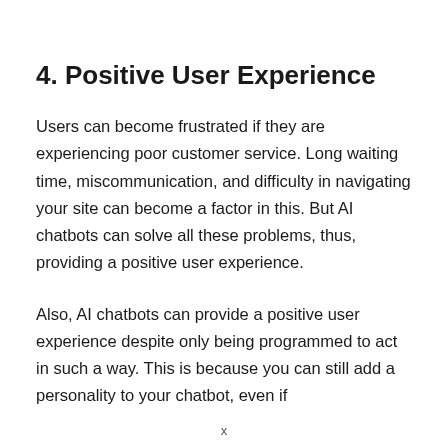4. Positive User Experience
Users can become frustrated if they are experiencing poor customer service. Long waiting time, miscommunication, and difficulty in navigating your site can become a factor in this. But AI chatbots can solve all these problems, thus, providing a positive user experience.
Also, AI chatbots can provide a positive user experience despite only being programmed to act in such a way. This is because you can still add a personality to your chatbot, even if
x